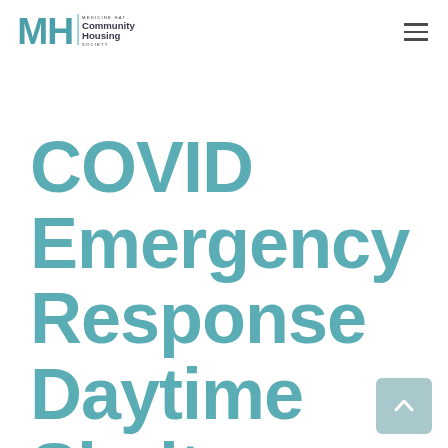MH Community Housing Society
COVID Emergency Response Daytime Shelter Begins Transition to